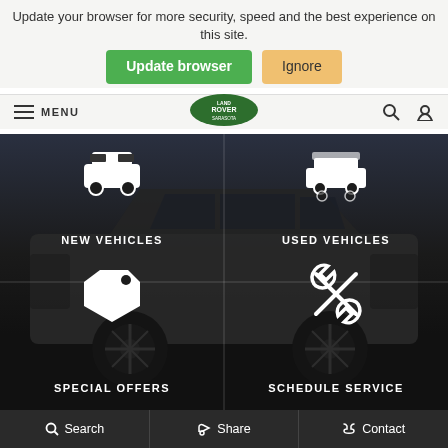Update your browser for more security, speed and the best experience on this site.
Update browser | Ignore
LAND ROVER SARASOTA — MENU
[Figure (screenshot): Land Rover dark background with Range Rover SUV silhouette, four navigation quadrants: New Vehicles, Used Vehicles, Special Offers, Schedule Service]
NEW VEHICLES
USED VEHICLES
SPECIAL OFFERS
SCHEDULE SERVICE
Search | Share | Contact